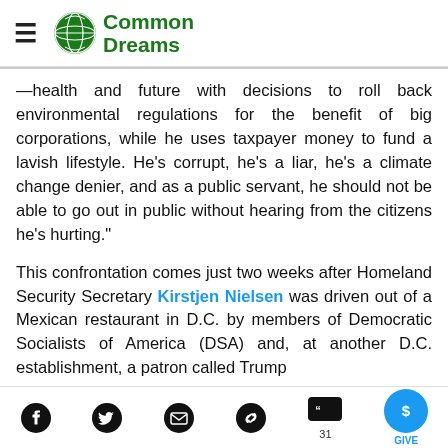Common Dreams
—health and future with decisions to roll back environmental regulations for the benefit of big corporations, while he uses taxpayer money to fund a lavish lifestyle. He's corrupt, he's a liar, he's a climate change denier, and as a public servant, he should not be able to go out in public without hearing from the citizens he's hurting."
This confrontation comes just two weeks after Homeland Security Secretary Kirstjen Nielsen was driven out of a Mexican restaurant in D.C. by members of Democratic Socialists of America (DSA) and, at another D.C. establishment, a patron called Trump
Social share icons: Facebook, Twitter, Email, Link, Comments (31), Give